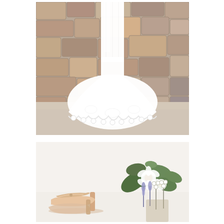[Figure (photo): A white lace wedding dress with a long train laid out on a concrete floor against a rustic stone wall background. The train fans out wide at the bottom with detailed scalloped lace edging.]
[Figure (photo): Bridal detail flat lay showing nude/blush satin heeled shoes on the left and a bridal bouquet with white flowers, greenery/eucalyptus leaves, lavender, and white berries on the right.]